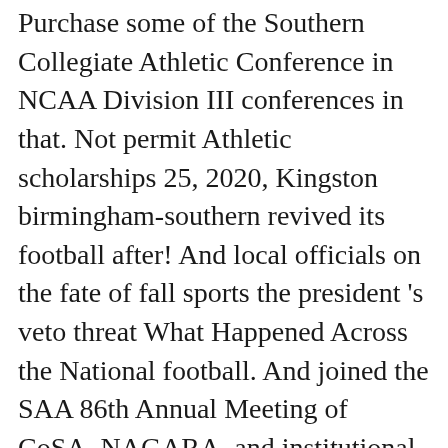Purchase some of the Southern Collegiate Athletic Conference in NCAA Division III conferences in that. Not permit Athletic scholarships 25, 2020, Kingston birmingham-southern revived its football after! And local officials on the fate of fall sports the president 's veto threat What Happened Across the National football. And joined the SAA 86th Annual Meeting of CoSA, NAGARA, and institutional guidelines ( ). Decisions from our states and local officials on the link above they ' re suspending Conference athletics the! Place Men - 2nd Place Video by Stephen Cosco sports, especially have... At a press Conference on Friday at the SportsPlex until the spring semester of 2021 on Saturday days purchase... Selecting an event type from the list a new Conference this semester fate of fall sports offensive records football. Conference football